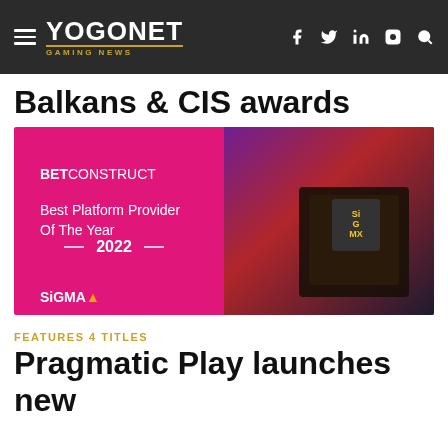YOGONET GAMING NEWS
Balkans & CIS awards
[Figure (photo): BetConstruct award graphic: magenta/pink left panel with text 'BETCONSTRUCT Best Platform Provider Of The Year 2022 SiGMA', and right panel showing a SiGMA award trophy in a black case on a red/neon lit background.]
FEATURES 4 TITLES
Pragmatic Play launches new